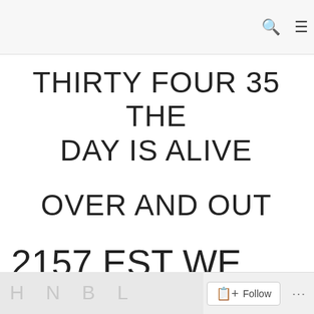THIRTY FOUR 35 THE DAY IS ALIVE
OVER AND OUT
2157 EST WE AGREE INAUGURATION OF DJT
Follow ...